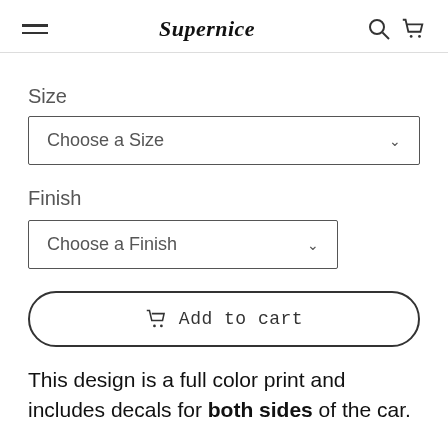Supernice
Size
Choose a Size
Finish
Choose a Finish
Add to cart
This design is a full color print and includes decals for both sides of the car.